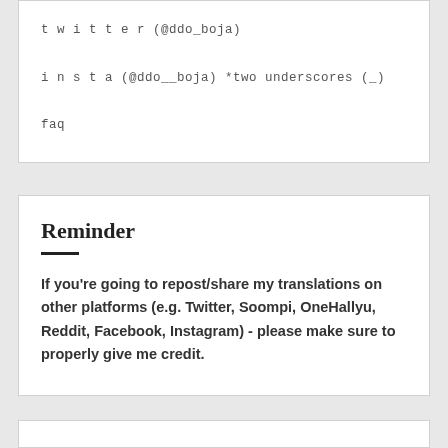twitter (@ddo_boja)
insta (@ddo__boja) *two underscores (_)
faq
Reminder
If you're going to repost/share my translations on other platforms (e.g. Twitter, Soompi, OneHallyu, Reddit, Facebook, Instagram) - please make sure to properly give me credit.